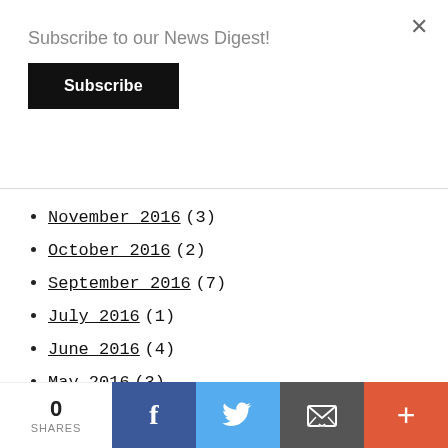Subscribe to our News Digest!
Subscribe
November 2016 (3)
October 2016 (2)
September 2016 (7)
July 2016 (1)
June 2016 (4)
May 2016 (3)
March 2016 (1)
October 2015 (11)
September 2015 (2)
0 SHARES | Facebook | Twitter | Email | More